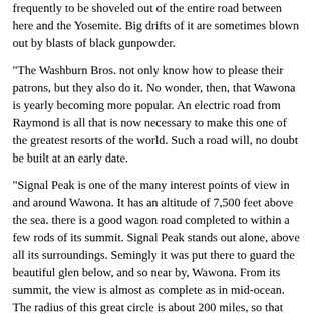frequently to be shoveled out of the entire road between here and the Yosemite. Big drifts of it are sometimes blown out by blasts of black gunpowder.
"The Washburn Bros. not only know how to please their patrons, but they also do it. No wonder, then, that Wawona is yearly becoming more popular. An electric road from Raymond is all that is now necessary to make this one of the greatest resorts of the world. Such a road will, no doubt be built at an early date.
"Signal Peak is one of the many interest points of view in and around Wawona. It has an altitude of 7,500 feet above the sea. there is a good wagon road completed to within a few rods of its summit. Signal Peak stands out alone, above all its surroundings. Semingly it was put there to guard the beautiful glen below, and so near by, Wawona. From its summit, the view is almost as complete as in mid-ocean. The radius of this great circle is about 200 miles, so that over 1,200 square miles are to be seen from here, and there is not an uninteresting square mile in this vast area. There is no other point on this western coast where one can see so much territory at once as from here. 'The rugged, snow-clad peaks of the High Sierras, the towering walls of the Yosemite, the heavily-timbered slopes of the nearer mountains, the vast valley of the San Joaquin, and the far-off summits of the Coast Range melting away in the distance, all combine to form an entrancing panorama, which will never be effaced from the memory of any true lover of nature